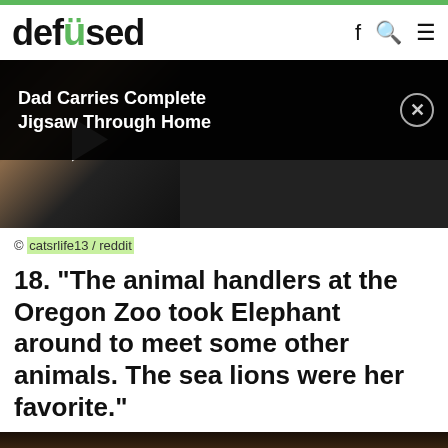defused
[Figure (screenshot): Video thumbnail with play button and road scene, overlaid with banner: Dad Carries Complete Jigsaw Through Home]
© catsrlife13 / reddit
18. “The animal handlers at the Oregon Zoo took Elephant around to meet some other animals. The sea lions were her favorite.”
[Figure (photo): Bottom portion of a photo showing an animal, partially visible]